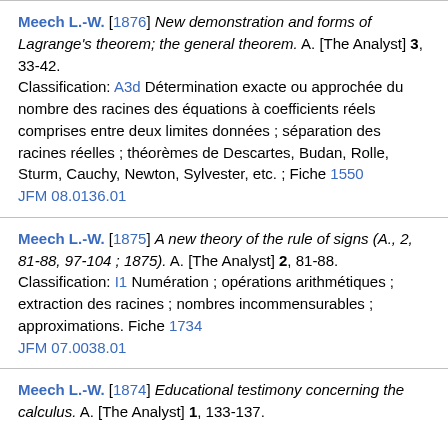Meech L.-W. [1876] New demonstration and forms of Lagrange's theorem; the general theorem. A. [The Analyst] 3, 33-42. Classification: A3d Détermination exacte ou approchée du nombre des racines des équations à coefficients réels comprises entre deux limites données ; séparation des racines réelles ; théorèmes de Descartes, Budan, Rolle, Sturm, Cauchy, Newton, Sylvester, etc. ; Fiche 1550 JFM 08.0136.01
Meech L.-W. [1875] A new theory of the rule of signs (A., 2, 81-88, 97-104 ; 1875). A. [The Analyst] 2, 81-88. Classification: I1 Numération ; opérations arithmétiques ; extraction des racines ; nombres incommensurables ; approximations. Fiche 1734 JFM 07.0038.01
Meech L.-W. [1874] Educational testimony concerning the calculus. A. [The Analyst] 1, 133-137.